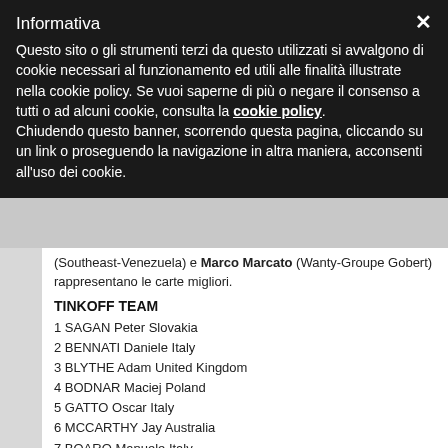Informativa
Questo sito o gli strumenti terzi da questo utilizzati si avvalgono di cookie necessari al funzionamento ed utili alle finalità illustrate nella cookie policy. Se vuoi saperne di più o negare il consenso a tutti o ad alcuni cookie, consulta la cookie policy. Chiudendo questo banner, scorrendo questa pagina, cliccando su un link o proseguendo la navigazione in altra maniera, acconsenti all'uso dei cookie.
(Southeast-Venezuela) e Marco Marcato (Wanty-Groupe Gobert) rappresentano le carte migliori.
TINKOFF TEAM
1 SAGAN Peter Slovakia
2 BENNATI Daniele Italy
3 BLYTHE Adam United Kingdom
4 BODNAR Maciej Poland
5 GATTO Oscar Italy
6 MCCARTHY Jay Australia
7 BOARO Manuele Italy